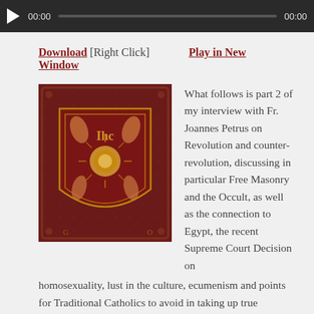[Figure (screenshot): Audio player bar with play button, time labels 00:00 and 00:00, and a progress bar on dark background]
Download [Right Click]   Play in New Window
[Figure (photo): Decorative religious embroidered textile with shield motif on dark red background featuring a monstrance with rays, wheat motifs, and ornamental border]
What follows is part 2 of my interview with Fr. Joannes Petrus on Revolution and counter-revolution, discussing in particular Free Masonry and the Occult, as well as the connection to Egypt, the recent Supreme Court Decision on homosexuality, lust in the culture, ecumenism and points for Traditional Catholics to avoid in taking up true authentic Counter-Revolution. Utterly fascinating.